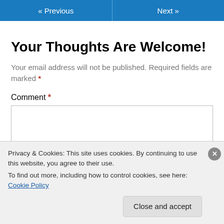« Previous   Next »
Your Thoughts Are Welcome!
Your email address will not be published. Required fields are marked *
Comment *
Privacy & Cookies: This site uses cookies. By continuing to use this website, you agree to their use.
To find out more, including how to control cookies, see here: Cookie Policy
Close and accept